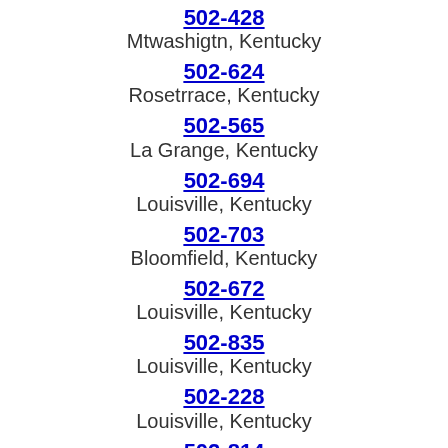502-428
Mtwashigtn, Kentucky
502-624
Rosetrrace, Kentucky
502-565
La Grange, Kentucky
502-694
Louisville, Kentucky
502-703
Bloomfield, Kentucky
502-672
Louisville, Kentucky
502-835
Louisville, Kentucky
502-228
Louisville, Kentucky
502-814
Louisville, Kentucky